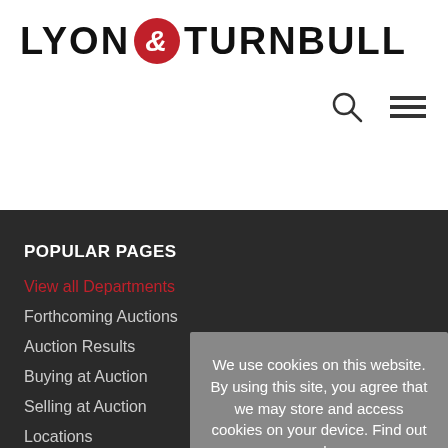[Figure (logo): Lyon & Turnbull logo with red circle ampersand]
[Figure (other): Search icon (magnifying glass) and hamburger menu icon]
POPULAR PAGES
View all Departments
Forthcoming Auctions
Auction Results
Buying at Auction
Selling at Auction
Locations
Specialist Directory
We use cookies on this website. By using this site, you agree that we may store and access cookies on your device. Find out more here
OK